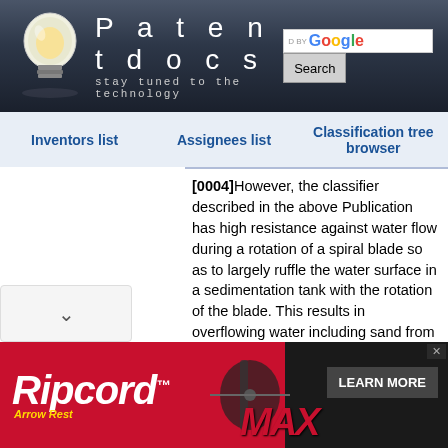[Figure (screenshot): Patentdocs website header with lightbulb logo, site name 'Patentdocs', tagline 'stay tuned to the technology', Google search box and Search button]
Inventors list | Assignees list | Classification tree browser
[0004]However, the classifier described in the above Publication has high resistance against water flow during a rotation of a spiral blade so as to largely ruffle the water surface in a sedimentation tank with the rotation of the blade. This results in overflowing water including sand from the sedimentation tank and decreasing a sand recovery efficiency.
[0005]The above...
[Figure (screenshot): Ripcord Arrow Rest advertisement banner with red and black background, MAX branding, and LEARN MORE button]